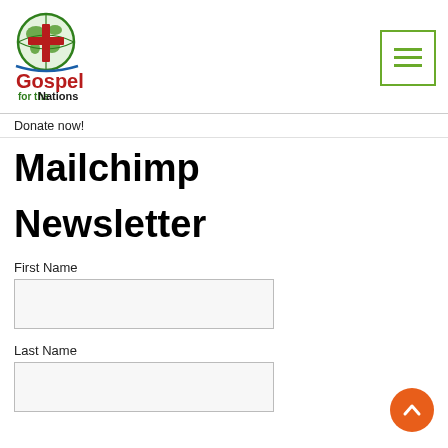[Figure (logo): Gospel for the Nations logo — green globe with red cross and swoosh, red bold 'Gospel' text, green 'for the Nations' text]
[Figure (other): Hamburger menu button — three horizontal green lines inside a green-bordered square]
Donate now!
Mailchimp

Newsletter
First Name
Last Name
[Figure (other): Orange circular scroll-to-top button with white upward chevron arrow]